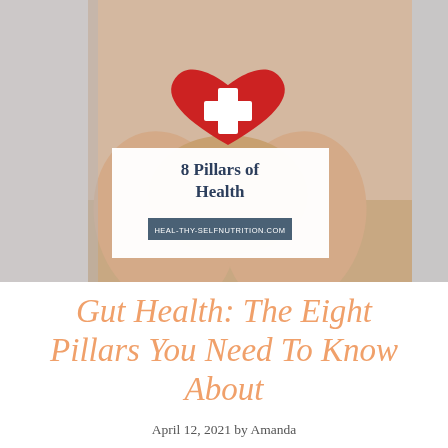[Figure (photo): Hands holding a red heart with white cross symbol, representing health, set against a light gray background. A white overlay card in the center shows the title '8 Pillars of Health' with the website URL below.]
Gut Health: The Eight Pillars You Need To Know About
April 12, 2021 by Amanda